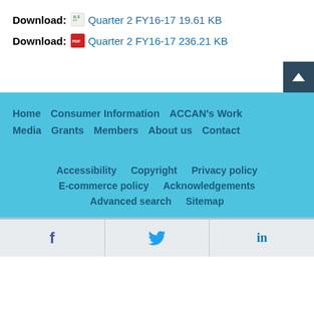Download: Quarter 2 FY16-17 19.61 KB
Download: Quarter 2 FY16-17 236.21 KB
Home | Consumer Information | ACCAN's Work | Media | Grants | Members | About us | Contact
Accessibility | Copyright | Privacy policy | E-commerce policy | Acknowledgements | Advanced search | Sitemap